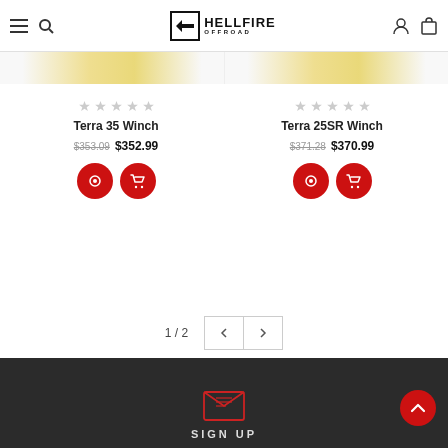Hellfire Offroad - Navigation header with logo, hamburger menu, search, account, and cart icons
[Figure (screenshot): Product listing showing two winches with star ratings, prices, view and add-to-cart buttons]
Terra 35 Winch | $353.09 $352.99
Terra 25SR Winch | $371.28 $370.99
1 / 2
[Figure (illustration): Dark footer section with envelope/email icon and SIGN UP text, plus red back-to-top arrow button]